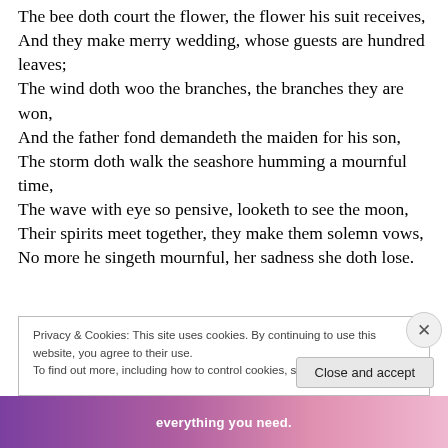The bee doth court the flower, the flower his suit receives,
And they make merry wedding, whose guests are hundred leaves;
The wind doth woo the branches, the branches they are won,
And the father fond demandeth the maiden for his son,
The storm doth walk the seashore humming a mournful time,
The wave with eye so pensive, looketh to see the moon,
Their spirits meet together, they make them solemn vows,
No more he singeth mournful, her sadness she doth lose.
Privacy & Cookies: This site uses cookies. By continuing to use this website, you agree to their use.
To find out more, including how to control cookies, see here: Cookie Policy
Close and accept
everything you need.